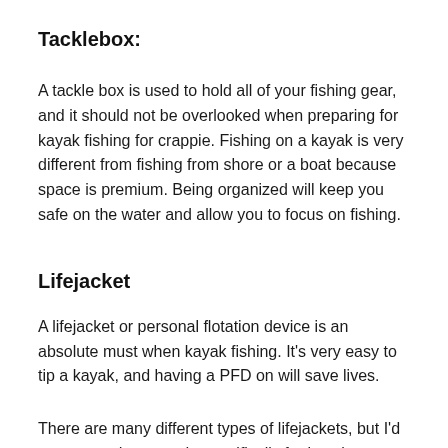Tacklebox:
A tackle box is used to hold all of your fishing gear, and it should not be overlooked when preparing for kayak fishing for crappie. Fishing on a kayak is very different from fishing from shore or a boat because space is premium. Being organized will keep you safe on the water and allow you to focus on fishing.
Lifejacket
A lifejacket or personal flotation device is an absolute must when kayak fishing. It's very easy to tip a kayak, and having a PFD on will save lives.
There are many different types of lifejackets, but I'd recommend one made specifically for kayaks. These